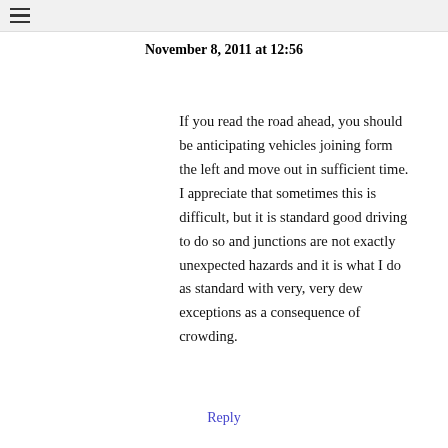☰
November 8, 2011 at 12:56
If you read the road ahead, you should be anticipating vehicles joining form the left and move out in sufficient time. I appreciate that sometimes this is difficult, but it is standard good driving to do so and junctions are not exactly unexpected hazards and it is what I do as standard with very, very dew exceptions as a consequence of crowding.
Reply